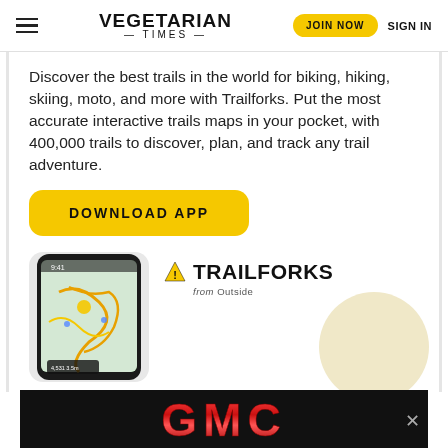VEGETARIAN TIMES | JOIN NOW | SIGN IN
Discover the best trails in the world for biking, hiking, skiing, moto, and more with Trailforks. Put the most accurate interactive trails maps in your pocket, with 400,000 trails to discover, plan, and track any trail adventure.
[Figure (screenshot): Yellow rounded rectangle button with text DOWNLOAD APP]
[Figure (screenshot): Phone showing Trailforks trail map app, with Trailforks logo and 'from Outside' text to the right]
[Figure (logo): GMC logo banner in red metallic text on black background at bottom of page]